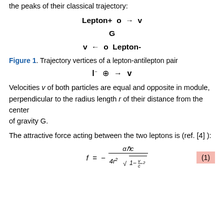the peaks of their classical trajectory:
Figure 1. Trajectory vertices of a lepton-antilepton pair
Velocities v of both particles are equal and opposite in module, perpendicular to the radius length r of their distance from the center of gravity G.
The attractive force acting between the two leptons is (ref. [4] ):